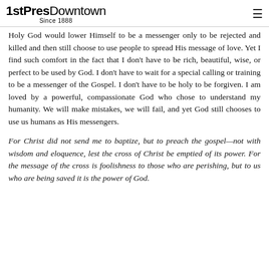1stPresDowntown Since 1888
Holy God would lower Himself to be a messenger only to be rejected and killed and then still choose to use people to spread His message of love. Yet I find such comfort in the fact that I don't have to be rich, beautiful, wise, or perfect to be used by God. I don't have to wait for a special calling or training to be a messenger of the Gospel. I don't have to be holy to be forgiven. I am loved by a powerful, compassionate God who chose to understand my humanity. We will make mistakes, we will fail, and yet God still chooses to use us humans as His messengers.
For Christ did not send me to baptize, but to preach the gospel—not with wisdom and eloquence, lest the cross of Christ be emptied of its power. For the message of the cross is foolishness to those who are perishing, but to us who are being saved it is the power of God.